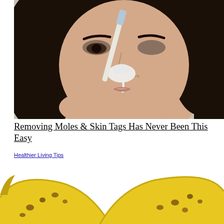[Figure (photo): A woman with dark hair applying white cream or paste to her nose with a toothbrush or applicator tool, close-up beauty/skincare photo]
Removing Moles & Skin Tags Has Never Been This Easy
Healthier Living Tips
[Figure (photo): Two ripe bananas with brown spots on a white background, cropped view showing the bananas from above]